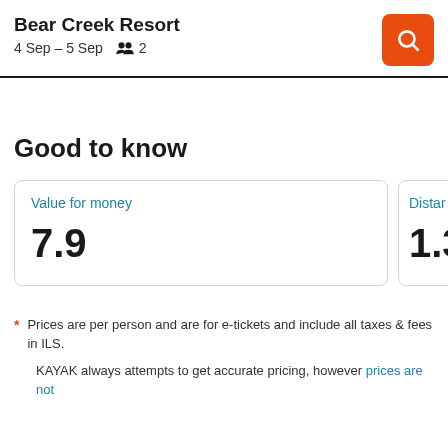Bear Creek Resort
4 Sep – 5 Sep  👥 2
Good to know
Value for money
7.9
Distar…
1.3 k…
* Prices are per person and are for e-tickets and include all taxes & fees in ILS.
KAYAK always attempts to get accurate pricing, however prices are not…